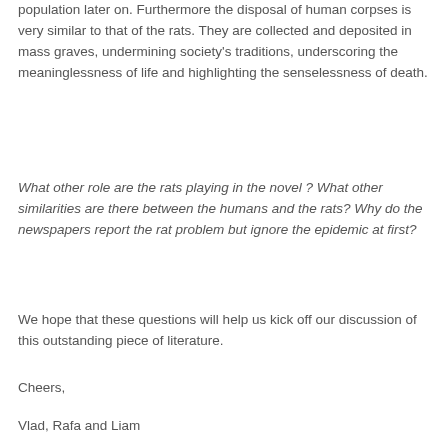population later on. Furthermore the disposal of human corpses is very similar to that of the rats. They are collected and deposited in mass graves, undermining society's traditions, underscoring the meaninglessness of life and highlighting the senselessness of death.
What other role are the rats playing in the novel ? What other similarities are there between the humans and the rats? Why do the newspapers report the rat problem but ignore the epidemic at first?
We hope that these questions will help us kick off our discussion of this outstanding piece of literature.
Cheers,
Vlad, Rafa and Liam